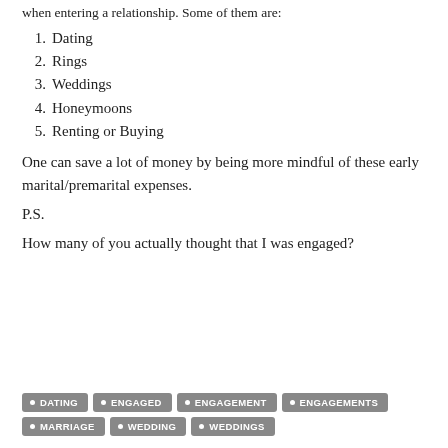when entering a relationship. Some of them are:
1. Dating
2. Rings
3. Weddings
4. Honeymoons
5. Renting or Buying
One can save a lot of money by being more mindful of these early marital/premarital expenses.
P.S.
How many of you actually thought that I was engaged?
DATING  ENGAGED  ENGAGEMENT  ENGAGEMENTS  MARRIAGE  WEDDING  WEDDINGS